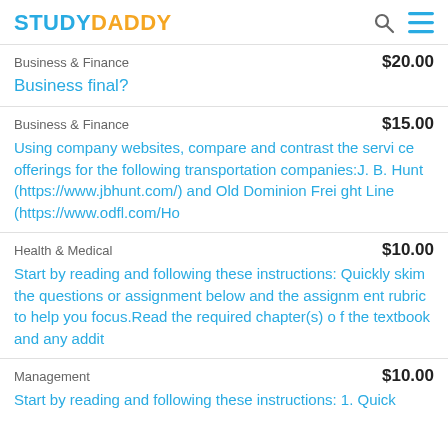STUDYDADDY
Business & Finance   $20.00
Business final?
Business & Finance   $15.00
Using company websites, compare and contrast the service offerings for the following transportation companies:J.B. Hunt (https://www.jbhunt.com/) and Old Dominion Freight Line (https://www.odfl.com/Ho
Health & Medical   $10.00
Start by reading and following these instructions: Quickly skim the questions or assignment below and the assignment rubric to help you focus.Read the required chapter(s) of the textbook and any addit
Management   $10.00
Start by reading and following these instructions: 1. Quick